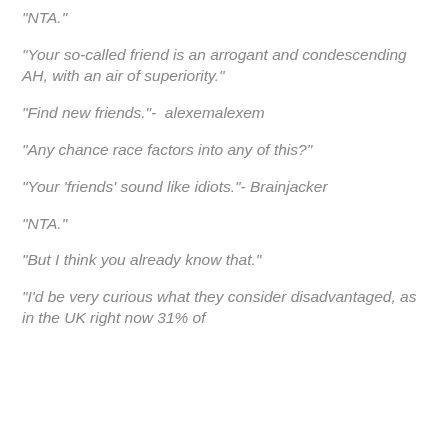“NTA.”
“Your so-called friend is an arrogant and condescending AH, with an air of superiority.”
“Find new friends.”-  alexemalexem
“Any chance race factors into any of this?”
“Your ‘friends’ sound like idiots.”- Brainjacker
“NTA.”
“But I think you already know that.”
“I’d be very curious what they consider disadvantaged, as in the UK right now 31% of